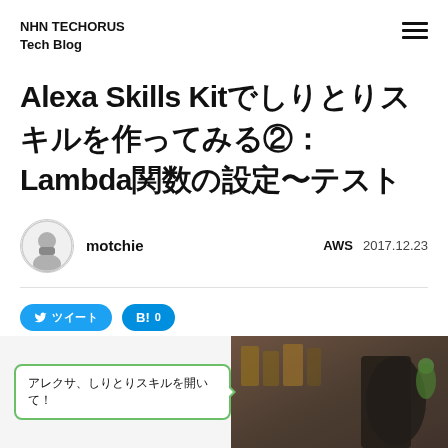NHN TECHORUS
Tech Blog
Alexa Skills Kitでしりとりスキルを作ってみる②：Lambda関数の設定〜テスト
motchie
AWS  2017.12.23
ツイート  B! 0
[Figure (screenshot): Speech bubble with Japanese text: アレクサ、しりとりスキルを開いて！ next to a photo of a person from behind in a warmly lit room with shelves]
アレクサ、しりとりスキルを開いて！